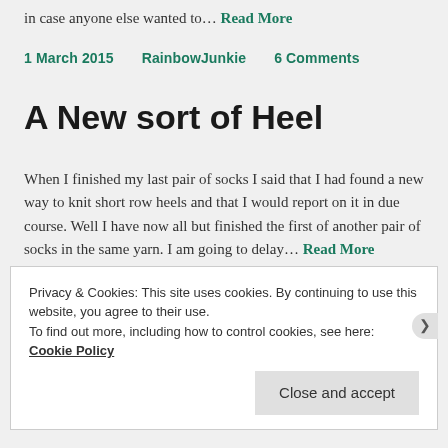in case anyone else wanted to… Read More
1 March 2015    RainbowJunkie    6 Comments
A New sort of Heel
When I finished my last pair of socks I said that I had found a new way to knit short row heels and that I would report on it in due course. Well I have now all but finished the first of another pair of socks in the same yarn. I am going to delay… Read More
Privacy & Cookies: This site uses cookies. By continuing to use this website, you agree to their use.
To find out more, including how to control cookies, see here: Cookie Policy
Close and accept